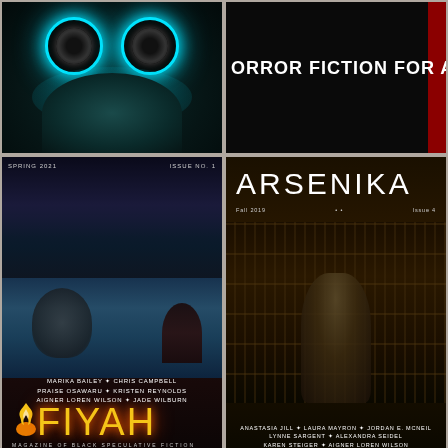[Figure (illustration): Magazine cover with glowing teal owl eyes against a dark background, owl body with teal feather glow]
[Figure (illustration): Dark magazine cover with text 'ORROR FICTION FOR ALL.' in white bold letters on black background with dark red sidebar]
[Figure (illustration): FIYAH Magazine of Black Speculative Fiction cover, Spring 2021 Issue No. 1, showing a sea creature and figure on water with yellow flame logo. Authors: Marika Bailey, Chris Campbell, Praise Osawaru, Kristen Reynolds, Aigner Loren Wilson, Jade Wilburn. Edited by Connor Sanders, Cover Art by Tajon Routh]
[Figure (illustration): ARSENIKA magazine cover, Fall 2019 Issue 4, dark sepia-toned cover with skeleton figure in bookshelf. Authors: Anastasia Jill, Laura Mayron, Jordan E. McNeil, Lynne Sargent, Alexandra Seidel, Karen Steiger, Aigner Loren Wilson]
[Figure (illustration): LIGHTSPEED Science Fiction & Fantasy magazine cover with yellow title text on dark space background]
[Figure (illustration): ANATHEMA Spec from the Margins magazine cover with stylized figure and dark red/burgundy rose patterns]